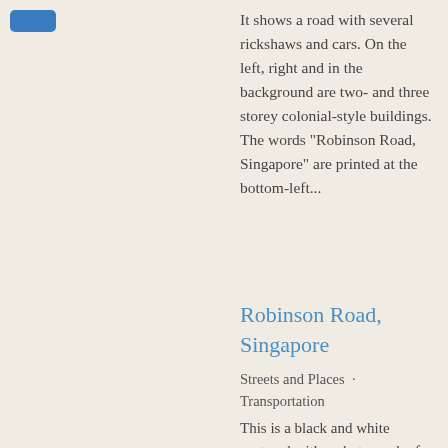[Figure (other): Blue button/tag element in top-left corner]
It shows a road with several rickshaws and cars. On the left, right and in the background are two- and three storey colonial-style buildings. The words "Robinson Road, Singapore" are printed at the bottom-left...
Robinson Road, Singapore
Streets and Places · Transportation
This is a black and white postcard with a photograph of a scenery of Robinson Road.